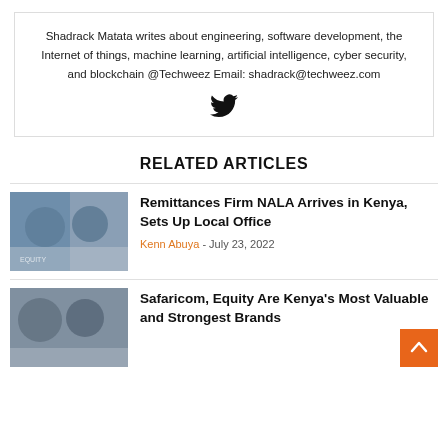Shadrack Matata writes about engineering, software development, the Internet of things, machine learning, artificial intelligence, cyber security, and blockchain @Techweez Email: shadrack@techweez.com
[Figure (illustration): Twitter bird icon in black]
RELATED ARTICLES
[Figure (photo): Two men at an event with Equity and NALA signage in background]
Remittances Firm NALA Arrives in Kenya, Sets Up Local Office
Kenn Abuya - July 23, 2022
[Figure (photo): Two people at a conference or event]
Safaricom, Equity Are Kenya's Most Valuable and Strongest Brands